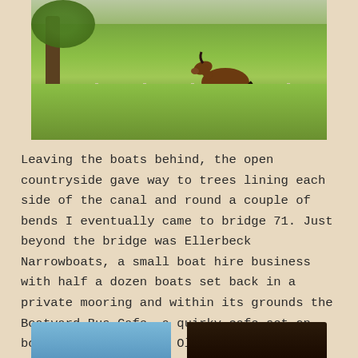[Figure (photo): A brown horse grazing in a green field with trees and a white fence, photographed in sunny countryside.]
Leaving the boats behind, the open countryside gave way to trees lining each side of the canal and round a couple of bends I eventually came to bridge 71. Just beyond the bridge was Ellerbeck Narrowboats, a small boat hire business with half a dozen boats set back in a private mooring and within its grounds the Boatyard Bus Cafe, a quirky cafe set on board a 1990 Leyland Olympian double decker.
[Figure (photo): Two partial photos at the bottom: a blue water/canal scene on the left and a dark tree/shadow scene on the right.]